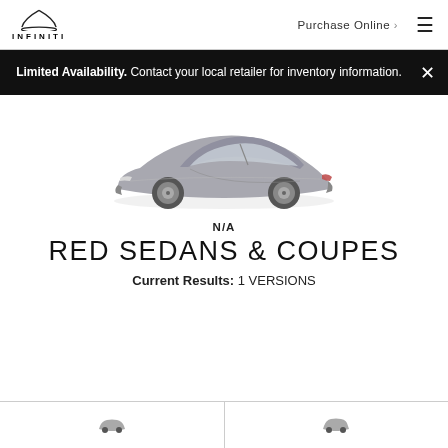INFINITI — Purchase Online
Limited Availability. Contact your local retailer for inventory information.
[Figure (photo): Side profile of a silver INFINITI Q60 coupe]
N/A
RED SEDANS & COUPES
Current Results: 1 VERSIONS